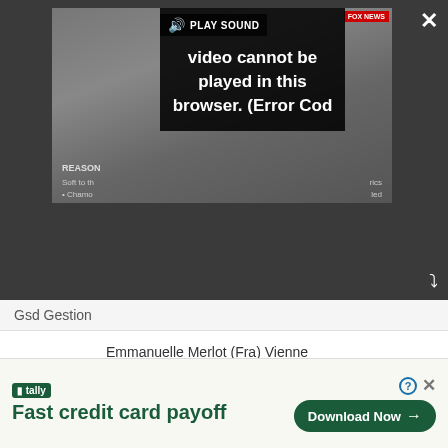[Figure (screenshot): Video player overlay showing error message 'Video cannot be played in this browser. (Error Cod' with PLAY SOUND button and close/expand controls over a dark background]
| # | Name | Time |
| --- | --- | --- |
|  | Gsd Gestion |  |
| 51 | Emmanuelle Merlot (Fra) Vienne Futuroscope |  |
| 52 | Marie Laure Cloarec (Fra) France | 0:04:26 |
| 53 | Heather Logan-Sprenger (Can) Canada |  |
| 54 | Marion Azam (Fra) France |  |
| 55 | Lylanie Lauwrens (RSA) Team MTN | 0:04:40 |
[Figure (screenshot): Tally advertisement banner: 'Fast credit card payoff' with Download Now button]